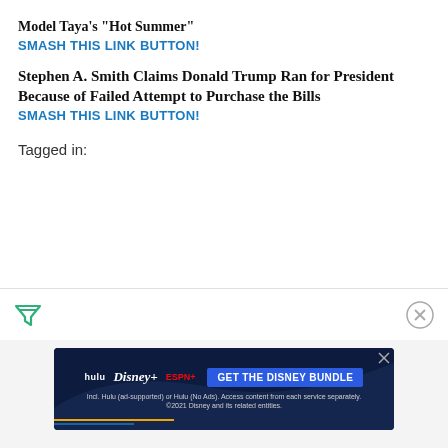Model Taya's "Hot Summer"
SMASH THIS LINK BUTTON!
Stephen A. Smith Claims Donald Trump Ran for President Because of Failed Attempt to Purchase the Bills
SMASH THIS LINK BUTTON!
Tagged in:
[Figure (other): Filter icon (funnel/triangle shape) on the left and close (X) icon on the right in a toolbar]
[Figure (other): Disney Bundle advertisement banner showing Hulu, Disney+, and ESPN+ logos with 'GET THE DISNEY BUNDLE' button and fine print about Hulu subscription options]